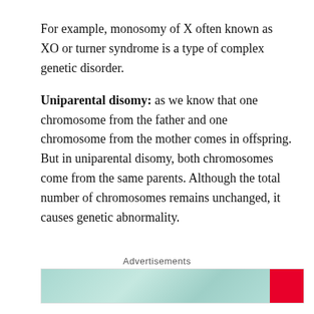For example, monosomy of X often known as XO or turner syndrome is a type of complex genetic disorder.
Uniparental disomy: as we know that one chromosome from the father and one chromosome from the mother comes in offspring. But in uniparental disomy, both chromosomes come from the same parents. Although the total number of chromosomes remains unchanged, it causes genetic abnormality.
Advertisements